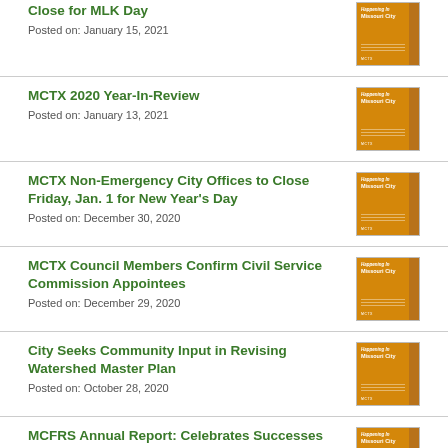Close for MLK Day
Posted on: January 15, 2021
MCTX 2020 Year-In-Review
Posted on: January 13, 2021
MCTX Non-Emergency City Offices to Close Friday, Jan. 1 for New Year's Day
Posted on: December 30, 2020
MCTX Council Members Confirm Civil Service Commission Appointees
Posted on: December 29, 2020
City Seeks Community Input in Revising Watershed Master Plan
Posted on: October 28, 2020
MCFRS Annual Report: Celebrates Successes While Looking Forward to
Posted on: (continued)